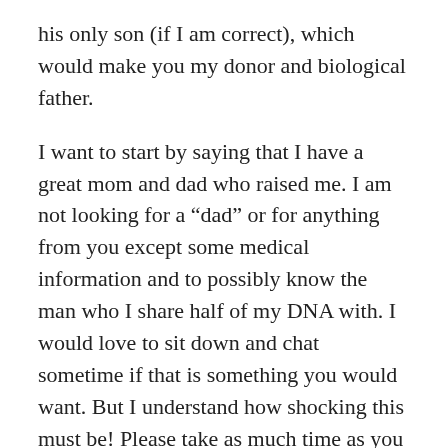his only son (if I am correct), which would make you my donor and biological father.
I want to start by saying that I have a great mom and dad who raised me. I am not looking for a “dad” or for anything from you except some medical information and to possibly know the man who I share half of my DNA with. I would love to sit down and chat sometime if that is something you would want. But I understand how shocking this must be! Please take as much time as you need to process. Feel free to contact me any time.
Sincerely,
Jo